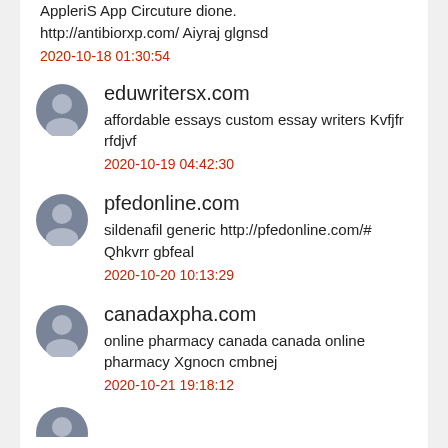AppleriS App Circuture dione. http://antibiorxp.com/ Aiyraj glgnsd
2020-10-18 01:30:54
eduwritersx.com
affordable essays custom essay writers Kvfjfr rfdjvf
2020-10-19 04:42:30
pfedonline.com
sildenafil generic http://pfedonline.com/# Qhkvrr gbfeal
2020-10-20 10:13:29
canadaxpha.com
online pharmacy canada canada online pharmacy Xgnocn cmbnej
2020-10-21 19:18:12